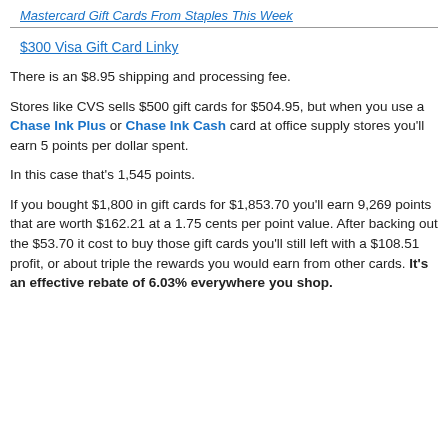Mastercard Gift Cards From Staples This Week
$300 Visa Gift Card Linky
There is an $8.95 shipping and processing fee.
Stores like CVS sells $500 gift cards for $504.95, but when you use a Chase Ink Plus or Chase Ink Cash card at office supply stores you'll earn 5 points per dollar spent.
In this case that's 1,545 points.
If you bought $1,800 in gift cards for $1,853.70 you'll earn 9,269 points that are worth $162.21 at a 1.75 cents per point value. After backing out the $53.70 it cost to buy those gift cards you'll still left with a $108.51 profit, or about triple the rewards you would earn from other cards. It's an effective rebate of 6.03% everywhere you shop.